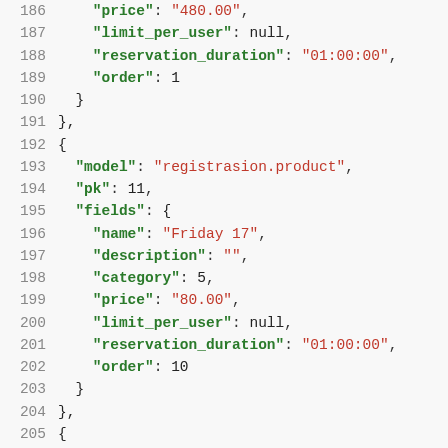Code listing lines 186-209: JSON data fixture for registrasion.product model entries
186    "price": "480.00",
187    "limit_per_user": null,
188    "reservation_duration": "01:00:00",
189    "order": 1
190  }
191 },
192 {
193  "model": "registrasion.product",
194  "pk": 11,
195  "fields": {
196    "name": "Friday 17",
197    "description": "",
198    "category": 5,
199    "price": "80.00",
200    "limit_per_user": null,
201    "reservation_duration": "01:00:00",
202    "order": 10
203  }
204 },
205 {
206  "model": "registrasion.product",
207  "pk": 12,
208  "fields": {
209    "name": "Saturday 18",